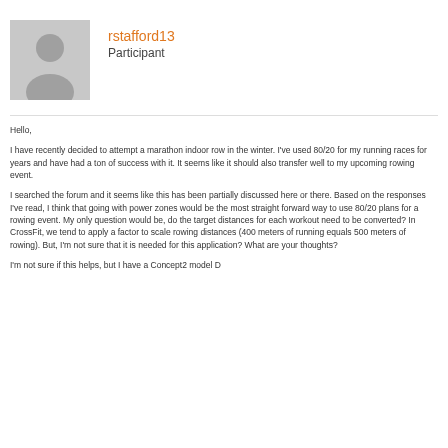[Figure (illustration): Grey avatar silhouette placeholder image for user rstafford13]
rstafford13
Participant
Hello,
I have recently decided to attempt a marathon indoor row in the winter. I've used 80/20 for my running races for years and have had a ton of success with it. It seems like it should also transfer well to my upcoming rowing event.
I searched the forum and it seems like this has been partially discussed here or there. Based on the responses I've read, I think that going with power zones would be the most straight forward way to use 80/20 plans for a rowing event. My only question would be, do the target distances for each workout need to be converted? In CrossFit, we tend to apply a factor to scale rowing distances (400 meters of running equals 500 meters of rowing). But, I'm not sure that it is needed for this application? What are your thoughts?
I'm not sure if this helps, but I have a Concept2 model D